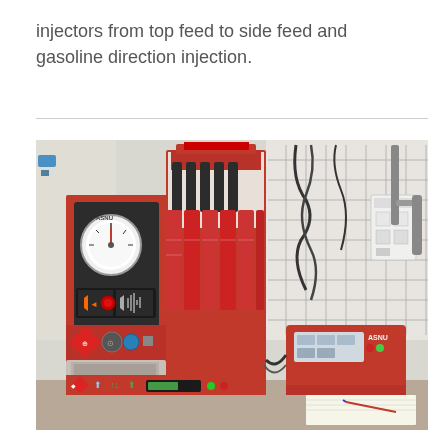injectors from top feed to side feed and gasoline direction injection.
[Figure (photo): A red fuel injector testing machine (ASNU brand) with pressure gauge, control panel with buttons and display, measurement cylinders, and a separate red ASNU ultrasonic cleaner unit. Tools and components visible on a pegboard wall in the background.]